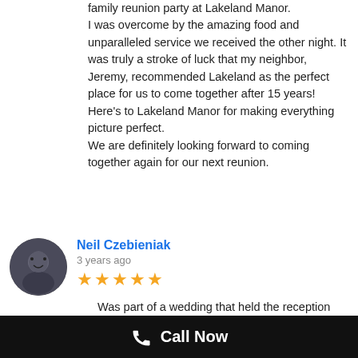family reunion party at Lakeland Manor. I was overcome by the amazing food and unparalleled service we received the other night. It was truly a stroke of luck that my neighbor, Jeremy, recommended Lakeland as the perfect place for us to come together after 15 years! Here's to Lakeland Manor for making everything picture perfect.
We are definitely looking forward to coming together again for our next reunion.
Neil Czebieniak
3 years ago
Was part of a wedding that held the reception here afterwards. I was blown away by the employees here. All of them went above and beyond my expectations. Very hard workers ensuring that the night went on without any issues. They are also very easy to talk with, and hold a conversation. If I had to make any plans for a big
Call Now